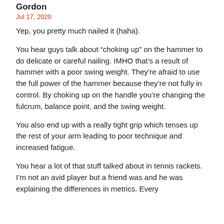Gordon
Jul 17, 2020
Yep, you pretty much nailed it (haha).
You hear guys talk about “choking up” on the hammer to do delicate or careful nailing. IMHO that’s a result of hammer with a poor swing weight. They’re afraid to use the full power of the hammer because they’re not fully in control. By choking up on the handle you’re changing the fulcrum, balance point, and the swing weight.
You also end up with a really tight grip which tenses up the rest of your arm leading to poor technique and increased fatigue.
You hear a lot of that stuff talked about in tennis rackets. I’m not an avid player but a friend was and he was explaining the differences in metrics. Every